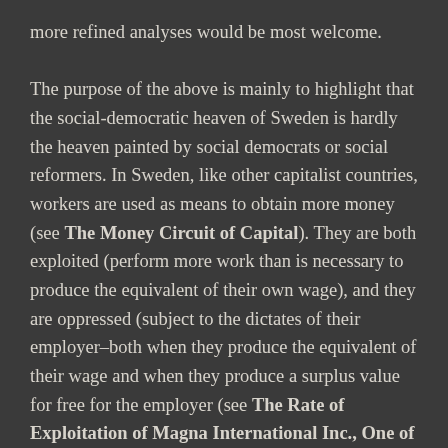more refined analyses would be most welcome.

The purpose of the above is mainly to highlight that the social-democratic heaven of Sweden is hardly the heaven painted by social democrats or social reformers. In Sweden, like other capitalist countries, workers are used as means to obtain more money (see The Money Circuit of Capital). They are both exploited (perform more work than is necessary to produce the equivalent of their own wage), and they are oppressed (subject to the dictates of their employer–both when they produce the equivalent of their wage and when they produce a surplus value for free for the employer (see The Rate of Exploitation of Magna International Inc., One of the Largest Private Employers in Toronto, Part Two, Or: Intensified Oppression and Exploitation).